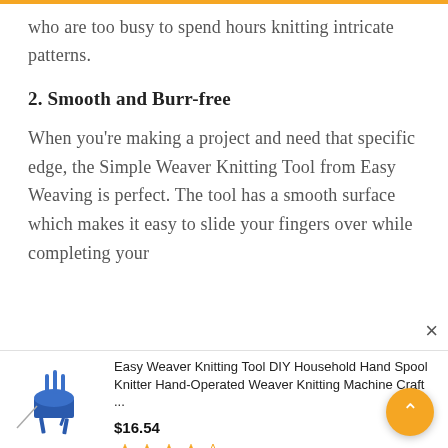who are too busy to spend hours knitting intricate patterns.
2. Smooth and Burr-free
When you're making a project and need that specific edge, the Simple Weaver Knitting Tool from Easy Weaving is perfect. The tool has a smooth surface which makes it easy to slide your fingers over while completing you...
[Figure (photo): Product image of Easy Weaver Knitting Tool, a blue hand spool knitter device]
Easy Weaver Knitting Tool DIY Household Hand Spool Knitter Hand-Operated Weaver Knitting Machine Craft ...
$16.54
[Figure (other): Star rating: 3 out of 5 stars shown with yellow filled and empty stars]